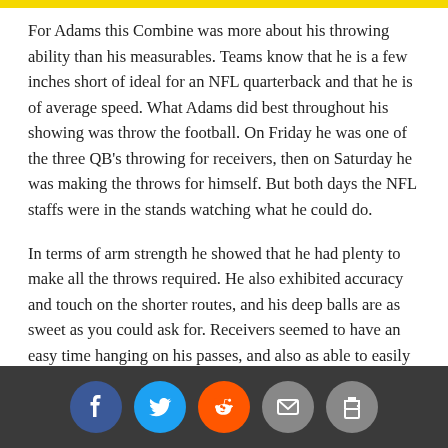For Adams this Combine was more about his throwing ability than his measurables. Teams know that he is a few inches short of ideal for an NFL quarterback and that he is of average speed. What Adams did best throughout his showing was throw the football. On Friday he was one of the three QB's throwing for receivers, then on Saturday he was making the throws for himself. But both days the NFL staffs were in the stands watching what he could do.
In terms of arm strength he showed that he had plenty to make all the throws required. He also exhibited accuracy and touch on the shorter routes, and his deep balls are as sweet as you could ask for. Receivers seemed to have an easy time hanging on his passes, and also as able to easily...
[Figure (infographic): Social sharing bar with Facebook, Twitter, Reddit, email, and print icons on a dark gray background]